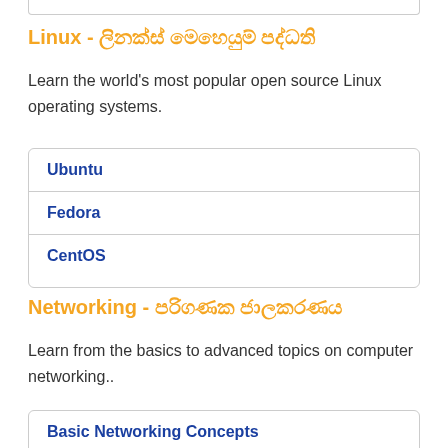Linux - ලිනක්ස් මෙහෙයුම් පද්ධති
Learn the world's most popular open source Linux operating systems.
Ubuntu
Fedora
CentOS
Networking - පරිගණක ජාලකරණය
Learn from the basics to advanced topics on computer networking..
Basic Networking Concepts